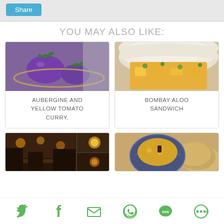Share
YOU MAY ALSO LIKE:
[Figure (photo): Photo of purple aubergines/eggplants in a golden bowl]
AUBERGINE AND YELLOW TOMATO CURRY.
[Figure (photo): Photo of Bombay Aloo sandwich with yellow potato filling in flatbread]
BOMBAY ALOO SANDWICH
[Figure (photo): Photo of a night market/restaurant scene collage]
[Figure (photo): Photo of chickpea curry in bowl with flatbreads]
[Figure (infographic): Social sharing icons: Twitter, Facebook, Email, WhatsApp, SMS, More]